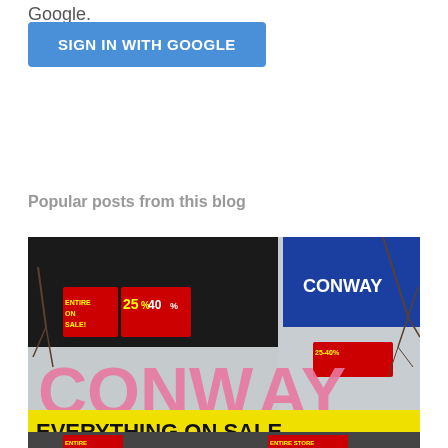Google.
SIGN IN WITH GOOGLE
Popular posts from this blog
[Figure (photo): Exterior of a Conway store with large pink 'CONWAY' letters on building facade. A yellow banner reads 'EVERYTHING ON SALE'. Sale signs in windows show '25-40%'.]